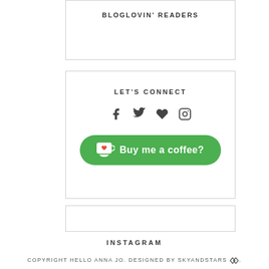BLOGLOVIN' READERS
LET'S CONNECT
[Figure (infographic): Social media icons: Facebook, Twitter, Heart (Bloglovin), Instagram]
[Figure (infographic): Green 'Buy me a coffee?' button with coffee cup icon]
INSTAGRAM
COPYRIGHT HELLO ANNA JO. DESIGNED BY SKYANDSTARS. [logo].